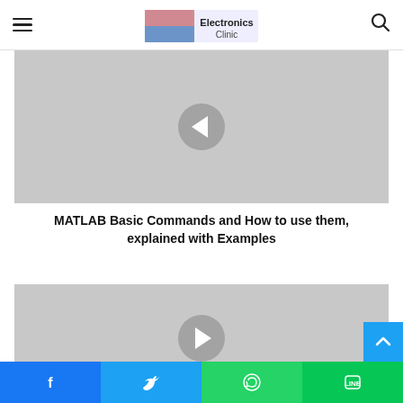Electronics Clinic
[Figure (screenshot): Gray placeholder image with a left-chevron navigation button (circle with white left arrow) centered on gray background]
MATLAB Basic Commands and How to use them, explained with Examples
[Figure (screenshot): Gray placeholder image with a right-chevron navigation button (circle with white right arrow) centered on gray background]
Facebook  Twitter  WhatsApp  Line social share buttons